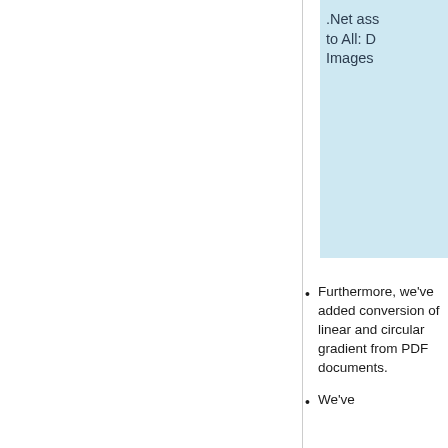.Net ass to All: D Images
Furthermore, we've added conversion of linear and circular gradient from PDF documents.
We've